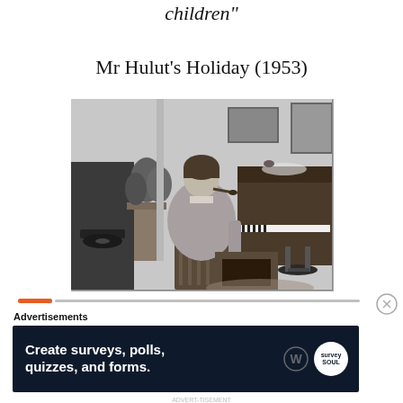children"
Mr Hulut's Holiday (1953)
[Figure (photo): Black and white still from Mr Hulot's Holiday (1953): a person seen from behind sitting in a chair, facing a fireplace with a piano to the right and a gramophone to the left, pipe in mouth.]
Advertisements
Create surveys, polls, quizzes, and forms.